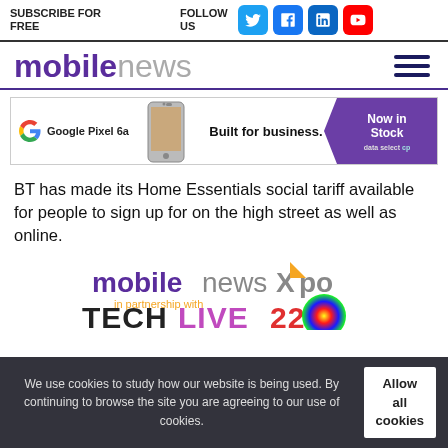SUBSCRIBE FOR FREE | FOLLOW US
mobilenews
[Figure (screenshot): Google Pixel 6a advertisement banner: Built for business. Now in Stock. data select.]
BT has made its Home Essentials social tariff available for people to sign up for on the high street as well as online.
[Figure (logo): Mobile News XPO in partnership with TECHLIVE22 logo]
We use cookies to study how our website is being used. By continuing to browse the site you are agreeing to our use of cookies.